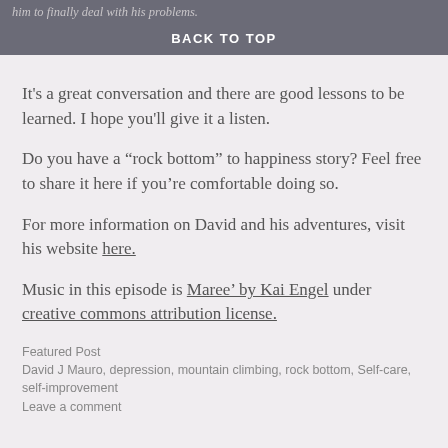him to finally deal with his problems.
BACK TO TOP
It's a great conversation and there are good lessons to be learned. I hope you'll give it a listen.
Do you have a “rock bottom” to happiness story? Feel free to share it here if you’re comfortable doing so.
For more information on David and his adventures, visit his website here.
Music in this episode is Maree’ by Kai Engel under creative commons attribution license.
Featured Post
David J Mauro, depression, mountain climbing, rock bottom, Self-care, self-improvement
Leave a comment